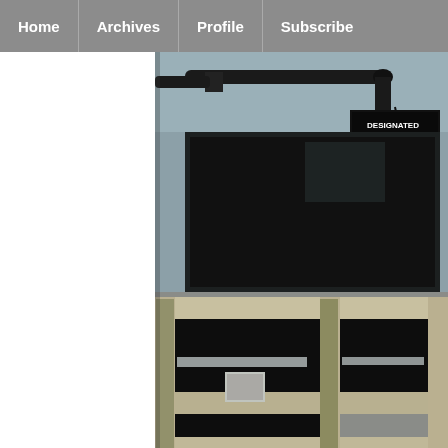Home | Archives | Profile | Subscribe
[Figure (photo): Indoor photo showing pipes on ceiling, a 'Designated Smoking Area' sign, a dark window/wall, and metal bars or railing structure in foreground, appearing to be a building interior possibly a jail or industrial space.]